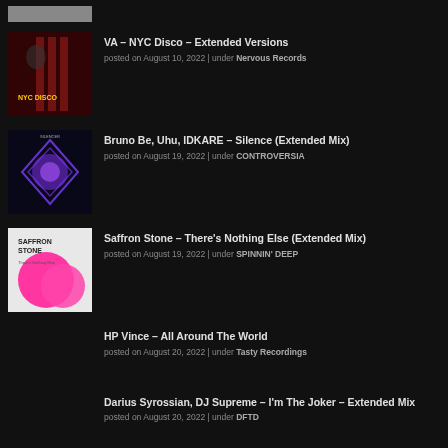[Figure (photo): Partial album art placeholder, grey rectangle at top]
[Figure (photo): NYC Disco Extended Versions album cover - red and black with artist photo]
VA – NYC Disco – Extended Versions
posted on August 10, 2022 | under Nervous Records
[Figure (photo): Silence Extended Mix album cover - dark blue/purple with geometric shape]
Bruno Be, Uhu, IDKARE – Silence (Extended Mix)
posted on August 19, 2022 | under CONTROVERSIA
[Figure (photo): Saffron Stone There's Nothing Else album cover - white with pink circles]
Saffron Stone – There's Nothing Else (Extended Mix)
posted on August 19, 2022 | under SPINNIN' DEEP
HP Vince – All Around The World
posted on August 20, 2022 | under Tasty Recordings
Darius Syrossian, DJ Supreme – I'm The Joker – Extended Mix
posted on August 20, 2022 | under DFTD